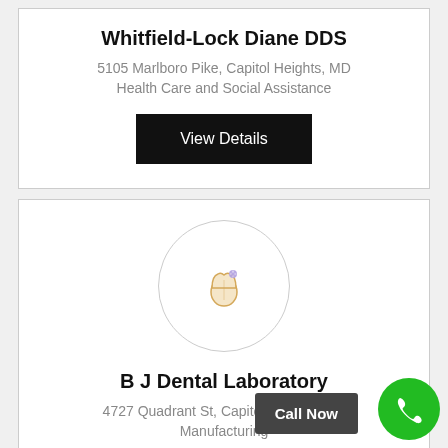Whitfield-Lock Diane DDS
5105 Marlboro Pike, Capitol Heights, MD
Health Care and Social Assistance
View Details
[Figure (logo): Tooth/dental icon inside a light circle border]
B J Dental Laboratory
4727 Quadrant St, Capitol Heights, MD
Manufacturing
Call Now